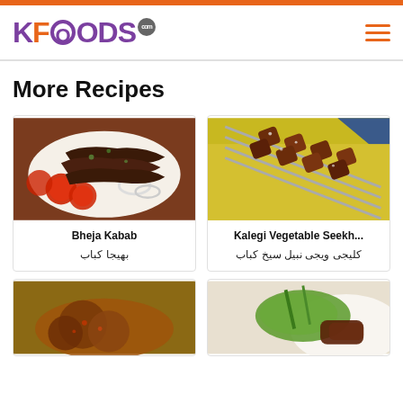KFOODS.com
More Recipes
[Figure (photo): Bheja Kabab served on a plate with tomato and onion garnish]
Bheja Kabab
بھیجا کباب
[Figure (photo): Kalegi Vegetable Seekh kabab on skewers on a yellow plate]
Kalegi Vegetable Seekh...
کلیجی ویجی نبیل سیخ کباب
[Figure (photo): Fried kabab close-up, partially visible]
[Figure (photo): Kabab with green chutney on a plate, partially visible]